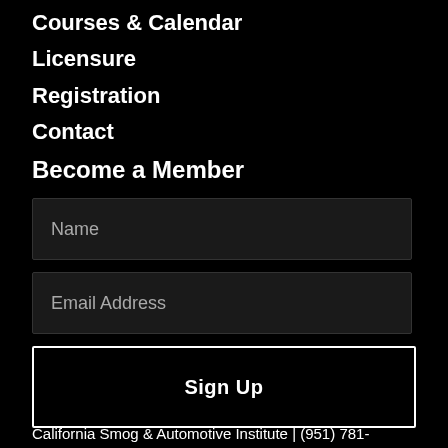Courses & Calendar
Licensure
Registration
Contact
Become a Member
Name
Email Address
Sign Up
California Smog & Automotive Institute | (951) 781-